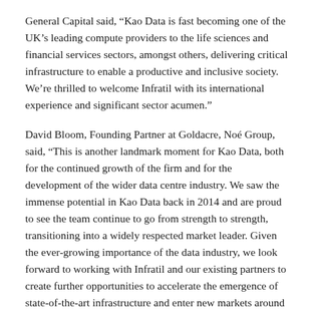General Capital said, “Kao Data is fast becoming one of the UK’s leading compute providers to the life sciences and financial services sectors, amongst others, delivering critical infrastructure to enable a productive and inclusive society. We’re thrilled to welcome Infratil with its international experience and significant sector acumen.”
David Bloom, Founding Partner at Goldacre, Noé Group, said, “This is another landmark moment for Kao Data, both for the continued growth of the firm and for the development of the wider data centre industry. We saw the immense potential in Kao Data back in 2014 and are proud to see the team continue to go from strength to strength, transitioning into a widely respected market leader. Given the ever-growing importance of the data industry, we look forward to working with Infratil and our existing partners to create further opportunities to accelerate the emergence of state-of-the-art infrastructure and enter new markets around the globe.”
Morrison & Co, which manages Infratil Ltd, has deep investment and operating experience in digital infrastructure, managing investments in businesses such as Vodafone New Zealand, Fore Freedom, and CDC Data Centres. It is actively growing its European investment